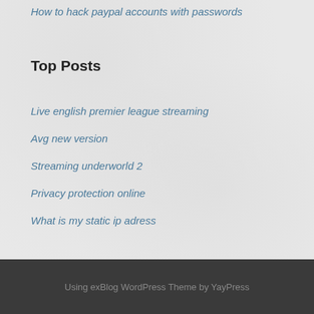How to hack paypal accounts with passwords
Top Posts
Live english premier league streaming
Avg new version
Streaming underworld 2
Privacy protection online
What is my static ip adress
Using exBlog WordPress Theme by YayPress